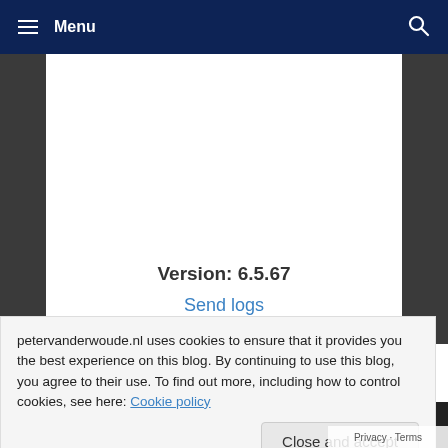Menu
[Figure (screenshot): Mobile phone screen showing app info: 'Version: 6.5.67' and a blue 'Send logs' button on white background, phone body in dark grey]
petervanderwoude.nl uses cookies to ensure that it provides you the best experience on this blog. By continuing to use this blog, you agree to their use. To find out more, including how to control cookies, see here: Cookie policy
Close and accept